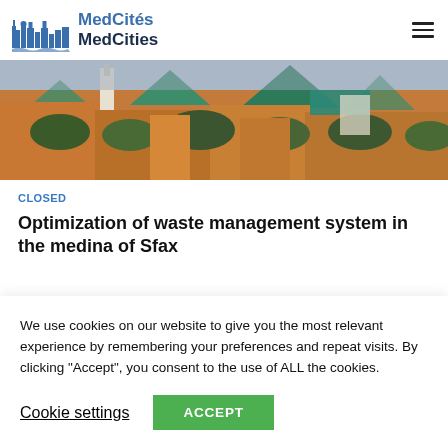[Figure (logo): MedCités MedCities logo with stylized city skyline icon in blue and dark blue text]
[Figure (photo): Aerial panoramic view of a Mediterranean medina city with orange rooftops, green pyramid-shaped roofs, trees and dense urban fabric]
CLOSED
Optimization of waste management system in the medina of Sfax
We use cookies on our website to give you the most relevant experience by remembering your preferences and repeat visits. By clicking "Accept", you consent to the use of ALL the cookies.
Cookie settings
ACCEPT